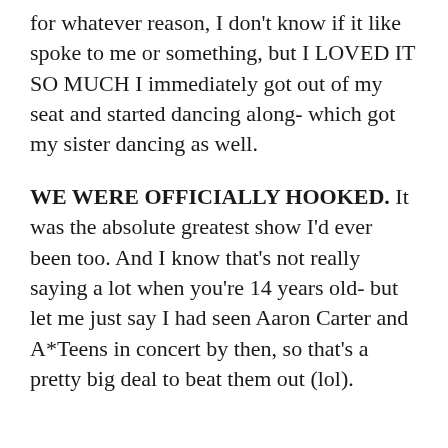for whatever reason, I don't know if it like spoke to me or something, but I LOVED IT SO MUCH I immediately got out of my seat and started dancing along- which got my sister dancing as well.
WE WERE OFFICIALLY HOOKED. It was the absolute greatest show I'd ever been too. And I know that's not really saying a lot when you're 14 years old- but let me just say I had seen Aaron Carter and A*Teens in concert by then, so that's a pretty big deal to beat them out (lol).